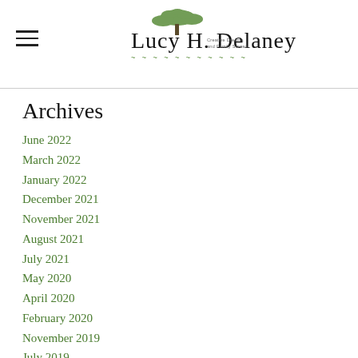Lucy H. Delaney — website header with logo and navigation
Archives
June 2022
March 2022
January 2022
December 2021
November 2021
August 2021
July 2021
May 2020
April 2020
February 2020
November 2019
July 2019
June 2019
February 2019
January 2019
November 2018